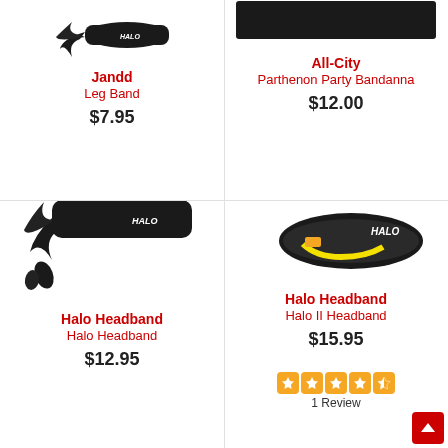[Figure (photo): Jandd Leg Band product photo - black fabric leg band]
Jandd
Leg Band
$7.95
[Figure (photo): All-City Parthenon Party Bandanna - black bandanna]
All-City
Parthenon Party Bandanna
$12.00
[Figure (photo): Halo Headband - black tie headband with HALO logo]
Halo Headband
Halo Headband
$12.95
[Figure (photo): Halo Headband Halo II Headband - black headband with yellow stripe and HALO logo]
Halo Headband
Halo II Headband
$15.95
1 Review